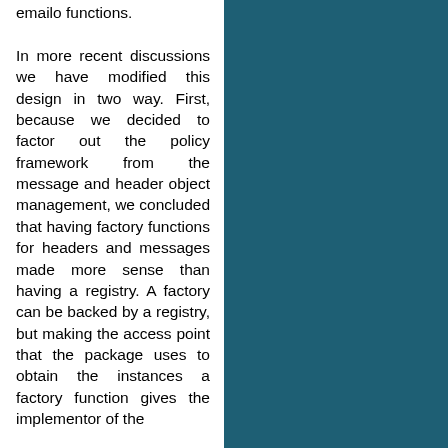emailo functions. In more recent discussions we have modified this design in two way. First, because we decided to factor out the policy framework from the message and header object management, we concluded that having factory functions for headers and messages made more sense than having a registry. A factory can be backed by a registry, but making the access point that the package uses to obtain the instances a factory function gives the implementor of the